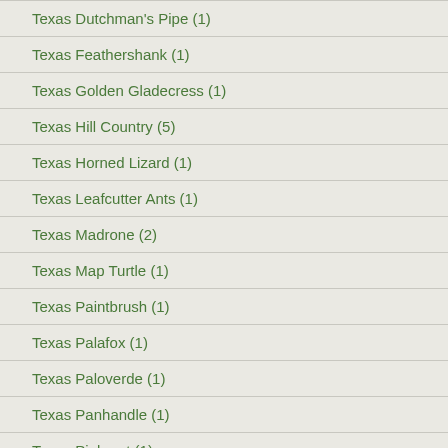Texas Dutchman's Pipe (1)
Texas Feathershank (1)
Texas Golden Gladecress (1)
Texas Hill Country (5)
Texas Horned Lizard (1)
Texas Leafcutter Ants (1)
Texas Madrone (2)
Texas Map Turtle (1)
Texas Paintbrush (1)
Texas Palafox (1)
Texas Paloverde (1)
Texas Panhandle (1)
Texas Pinkroot (1)
Texas Rainbow Cactus (1)